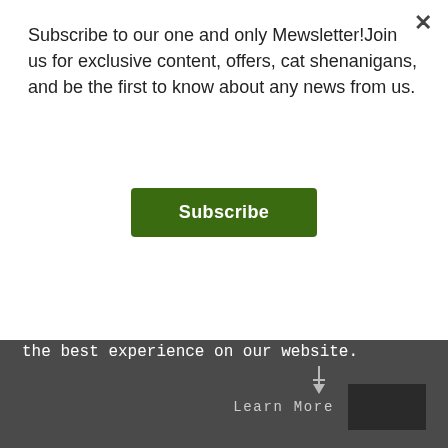Subscribe to our one and only Mewsletter!Join us for exclusive content, offers, cat shenanigans, and be the first to know about any news from us.
Subscribe
moving into a home with me & Ebony and everything that went with that.  She has grown into such a wonderful loving little kitty.
She always has the happiest little face on her and loves some fuss, cuddles, playtime, oh and fresh prawns if you're handing them out?! ☺ (she gets
This shop uses cookies to ensure you get the best experience on our website.
Learn More